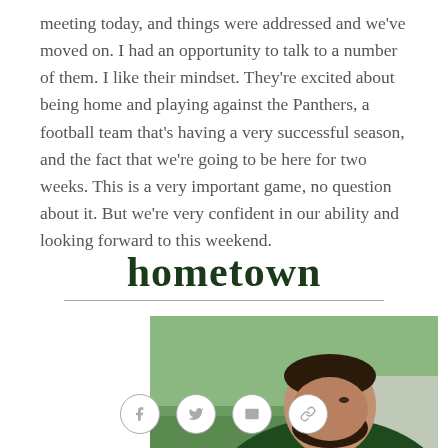meeting today, and things were addressed and we've moved on. I had an opportunity to talk to a number of them. I like their mindset. They're excited about being home and playing against the Panthers, a football team that's having a very successful season, and the fact that we're going to be here for two weeks. This is a very important game, no question about it. But we're very confident in our ability and looking forward to this weekend.
hometown
[Figure (photo): A man wearing a dark green t-shirt, photographed from roughly chest up, with a beard, outdoors with green grass and a path visible in the background.]
Social share icons: Facebook, Twitter, Email, Link